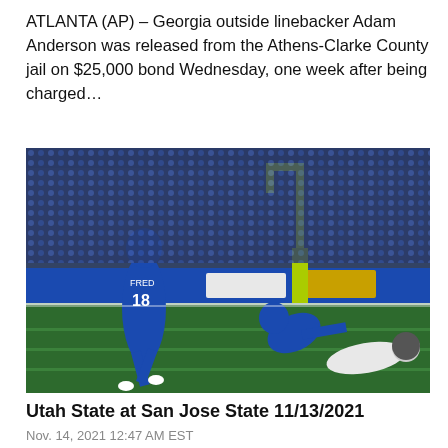ATLANTA (AP) – Georgia outside linebacker Adam Anderson was released from the Athens-Clarke County jail on $25,000 bond Wednesday, one week after being charged…
[Figure (photo): Football game action photo: two players in blue San Jose State uniforms, one wearing number 18 (FRED), on a green field at night. A yellow goalpost is visible in the background, with a packed stadium crowd. One blue player is diving toward a white-uniformed opponent near the sideline.]
Utah State at San Jose State 11/13/2021
Nov. 14, 2021 12:47 AM EST